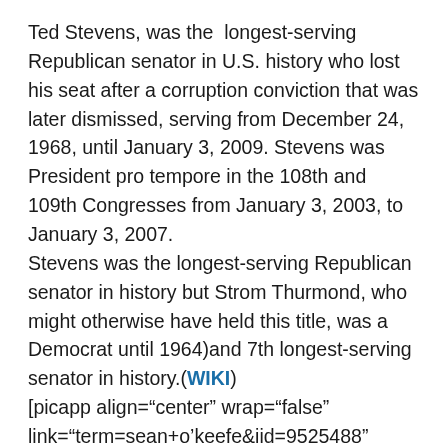Ted Stevens, was the longest-serving Republican senator in U.S. history who lost his seat after a corruption conviction that was later dismissed, serving from December 24, 1968, until January 3, 2009. Stevens was President pro tempore in the 108th and 109th Congresses from January 3, 2003, to January 3, 2007. Stevens was the longest-serving Republican senator in history but Strom Thurmond, who might otherwise have held this title, was a Democrat until 1964)and 7th longest-serving senator in history.(WIKI) [picapp align="center" wrap="false" link="term=sean+o'keefe&iid=9525488" src="http://view4.picapp.com/pictures.photo/image/9525488/file-photo-senator-ted/file-photo-senator-ted.jpg?size=500&imageId=9525488&#8243; width="234" height="307" /]